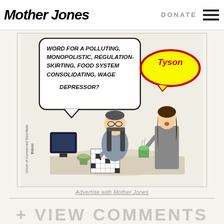Mother Jones | DONATE
[Figure (illustration): Editorial cartoon showing a man doing a crossword puzzle at a table while a woman holding a coffee cup says 'Tyson' in a speech bubble. The man has a speech bubble reading: 'WORD FOR A POLLUTING, MONOPOLISTIC, REGULATION-SKIRTING, FOOD SYSTEM CONSOLIDATING, WAGE DEPRESSOR?' The cartoon is credited to 'Union of Concerned Scientists / Bilicki'.]
Advertise with Mother Jones
+ VIEW COMMENTS